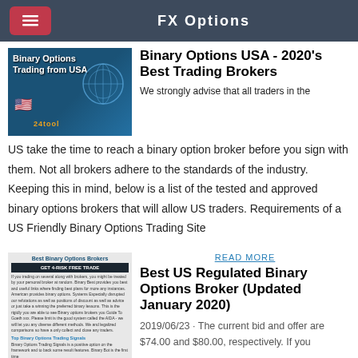FX Options
[Figure (photo): Binary Options Trading from USA promotional image with US flag and globe]
Binary Options USA - 2020's Best Trading Brokers
We strongly advise that all traders in the US take the time to reach a binary option broker before you sign with them. Not all brokers adhere to the standards of the industry. Keeping this in mind, below is a list of the tested and approved binary options brokers that will allow US traders. Requirements of a US Friendly Binary Options Trading Site
[Figure (screenshot): Best Binary Options Brokers website screenshot with GET 4-RISK FREE TRADE banner]
READ MORE
Best US Regulated Binary Options Broker (Updated January 2020)
2019/06/23 · The current bid and offer are $74.00 and $80.00, respectively. If you